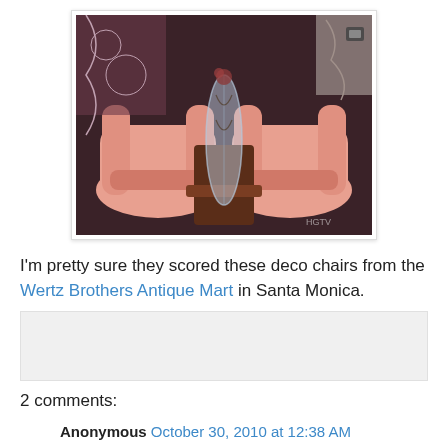[Figure (photo): Two pink art deco armchairs on either side of a glass vase/lamp on a dark wood surface, with decorative background]
I'm pretty sure they scored these deco chairs from the Wertz Brothers Antique Mart in Santa Monica.
2 comments:
Anonymous  October 30, 2010 at 12:38 AM